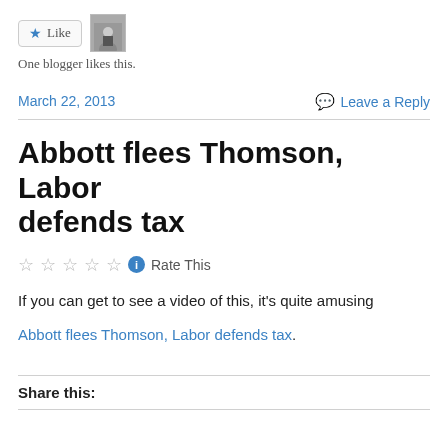[Figure (other): Like button with star icon and user avatar photo]
One blogger likes this.
March 22, 2013    Leave a Reply
Abbott flees Thomson, Labor defends tax
☆☆☆☆☆ ℹ Rate This
If you can get to see a video of this, it's quite amusing
Abbott flees Thomson, Labor defends tax.
Share this: